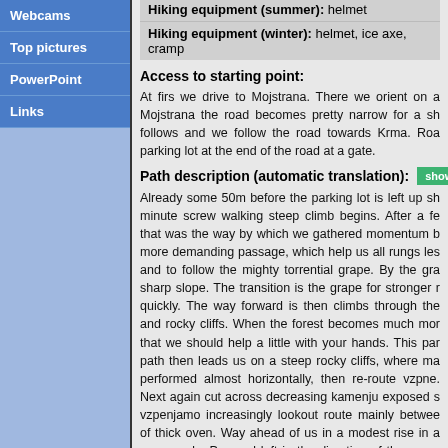Webcams
Top pictures
PowerPoint
Links
Hiking equipment (summer): helmet
Hiking equipment (winter): helmet, ice axe, cramp
Access to starting point:
At firs we drive to Mojstrana. There we orient on a... Mojstrana the road becomes pretty narrow for a sh... follows and we follow the road towards Krma. Roa... parking lot at the end of the road at a gate.
Path description (automatic translation):
Already some 50m before the parking lot is left up sh... minute screw walking steep climb begins. After a fe... that was the way by which we gathered momentum b... more demanding passage, which help us all rungs les... and to follow the mighty torrential grape. By the gra... sharp slope. The transition is the grape for stronger r... quickly. The way forward is then climbs through the... and rocky cliffs. When the forest becomes much mor... that we should help a little with your hands. This par... path then leads us on a steep rocky cliffs, where ma... performed almost horizontally, then re-route vzpne.... Next again cut across decreasing kamenju exposed s... vzpenjamo increasingly lookout route mainly betwee... of thick oven. Way ahead of us in a modest rise in a... crossroads. Proceed left in the direction of the moun... Channels with which they shed twice left the path to... to Pokljuka wholesale furnace. To be continued in th... steep ascent. Monday the rise of the crest slope thick